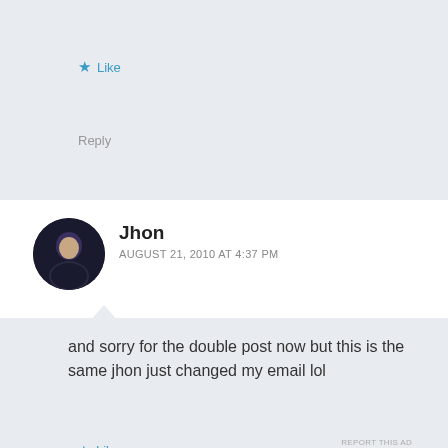★ Like
Reply
Jhon
AUGUST 21, 2010 AT 4:37 PM
and sorry for the double post now but this is the same jhon just changed my email lol
★ Like
Reply
Advertisements
AUT⊙MATTIC
Build a better web and a better world.